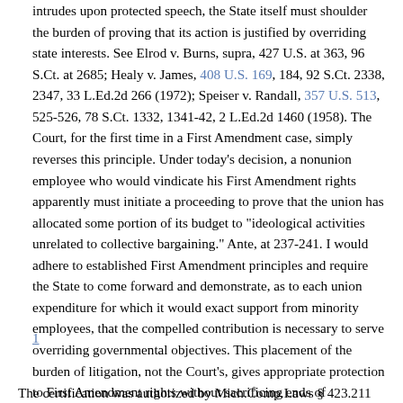intrudes upon protected speech, the State itself must shoulder the burden of proving that its action is justified by overriding state interests. See Elrod v. Burns, supra, 427 U.S. at 363, 96 S.Ct. at 2685; Healy v. James, 408 U.S. 169, 184, 92 S.Ct. 2338, 2347, 33 L.Ed.2d 266 (1972); Speiser v. Randall, 357 U.S. 513, 525-526, 78 S.Ct. 1332, 1341-42, 2 L.Ed.2d 1460 (1958). The Court, for the first time in a First Amendment case, simply reverses this principle. Under today's decision, a nonunion employee who would vindicate his First Amendment rights apparently must initiate a proceeding to prove that the union has allocated some portion of its budget to "ideological activities unrelated to collective bargaining." Ante, at 237-241. I would adhere to established First Amendment principles and require the State to come forward and demonstrate, as to each union expenditure for which it would exact support from minority employees, that the compelled contribution is necessary to serve overriding governmental objectives. This placement of the burden of litigation, not the Court's, gives appropriate protection to First Amendment rights without sacrificing ends of government that may be deemed important.
1
The certification was authorized by Mich.Comp.Laws § 423.211 (1970),